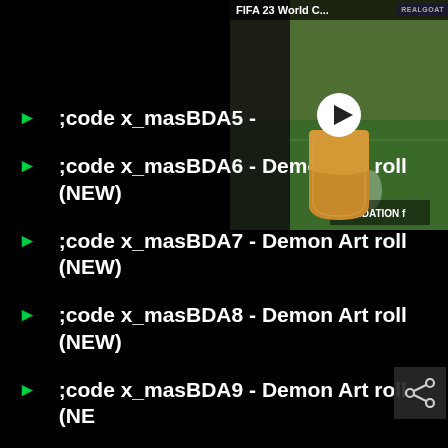[Figure (screenshot): FIFA 23 World C... video thumbnail with play button and REALGOAT badge in top right corner]
;code x_masBDA5 -
;code x_masBDA6 - Demon Art roll (NEW)
;code x_masBDA7 - Demon Art roll (NEW)
;code x_masBDA8 - Demon Art roll (NEW)
;code x_masBDA9 - Demon Art roll (NEW)
;code x_masBDA10 - Demon Art roll (NEW)
;code x_masBDA11 - Demon Art roll